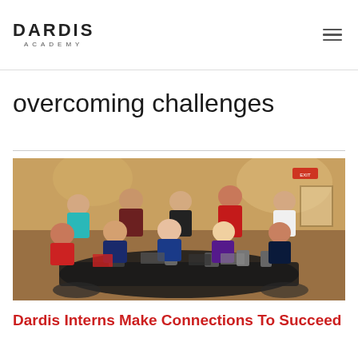DARDIS ACADEMY
overcoming challenges
[Figure (photo): Group photo of Dardis Academy interns seated and standing around a round table in a conference/banquet room setting. About 10 young people in casual clothing are posing together, smiling at the camera.]
Dardis Interns Make Connections To Succeed